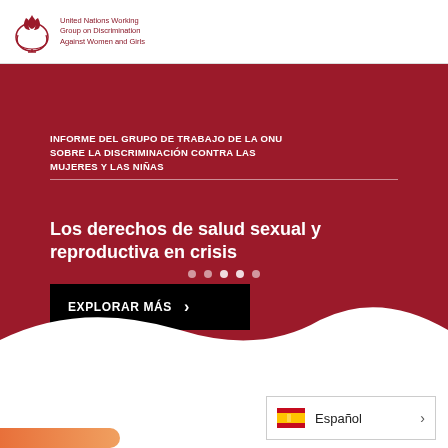[Figure (logo): United Nations Working Group on Discrimination Against Women and Girls logo with flame/torch emblem in dark red]
INFORME DEL GRUPO DE TRABAJO DE LA ONU SOBRE LA DISCRIMINACIÓN CONTRA LAS MUJERES Y LAS NIÑAS
Los derechos de salud sexual y reproductiva en crisis
EXPLORAR MÁS ›
Español ›